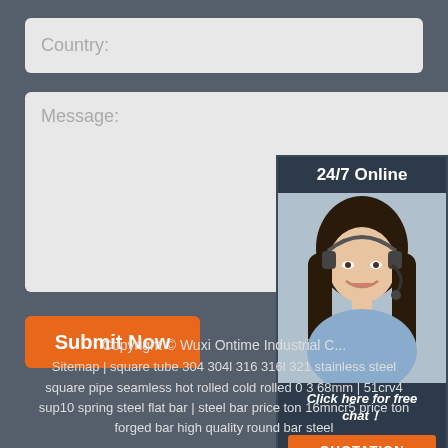Country:
Message:
Submit Now
[Figure (illustration): 24/7 Online chat widget with photo of woman wearing headset smiling, dark navy background, 'Click here for free chat!' text, and orange QUOTATION button]
Copyright © Wuxi Ontime Industrial C...
Sitemap | square tube 304 304l 316 316l 321 stainless steel square pipe seamless hot rolled cold rolled 0 3 68mm | 51crv4 sup10 spring steel flat bar | steel bar price ton 16mncr5 price ton forged bar high quality round bar steel